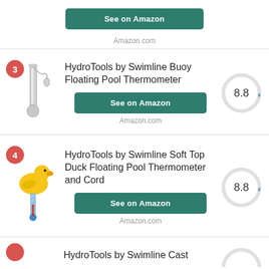[Figure (other): See on Amazon button at top]
Amazon.com
[Figure (photo): HydroTools by Swimline Buoy Floating Pool Thermometer product image - item 3]
HydroTools by Swimline Buoy Floating Pool Thermometer
[Figure (donut-chart): Score circle showing 8.8]
Amazon.com
[Figure (photo): HydroTools by Swimline Soft Top Duck Floating Pool Thermometer and Cord product image - item 4]
HydroTools by Swimline Soft Top Duck Floating Pool Thermometer and Cord
[Figure (donut-chart): Score circle showing 8.8]
Amazon.com
HydroTools by Swimline Cast